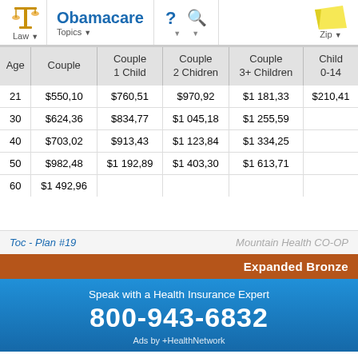Obamacare | Law | Topics | Zip
| Age | Couple | Couple
1 Child | Couple
2 Chidren | Couple
3+ Children | Child
0-14 |
| --- | --- | --- | --- | --- | --- |
| 21 | $550,10 | $760,51 | $970,92 | $1 181,33 | $210,41 |
| 30 | $624,36 | $834,77 | $1 045,18 | $1 255,59 |  |
| 40 | $703,02 | $913,43 | $1 123,84 | $1 334,25 |  |
| 50 | $982,48 | $1 192,89 | $1 403,30 | $1 613,71 |  |
| 60 | $1 492,96 |  |  |  |  |
Toc - Plan #19
Mountain Health CO-OP
Expanded Bronze
Speak with a Health Insurance Expert
800-943-6832
Ads by +HealthNetwork